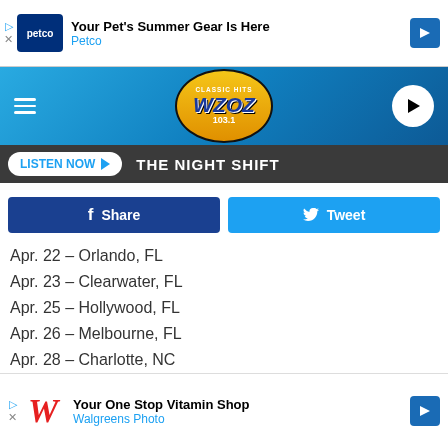[Figure (screenshot): Petco advertisement banner: Your Pet's Summer Gear Is Here]
[Figure (logo): Classic Hits WZOZ 103.1 radio station header logo with hamburger menu and play button]
LISTEN NOW  THE NIGHT SHIFT
[Figure (infographic): Facebook Share and Twitter Tweet social sharing buttons]
Apr. 22 – Orlando, FL
Apr. 23 – Clearwater, FL
Apr. 25 – Hollywood, FL
Apr. 26 – Melbourne, FL
Apr. 28 – Charlotte, NC
Apr. 29 – Huber Heights, OH
May 01 – Richmond, VA
May 02 –
May 05 –
[Figure (screenshot): Walgreens Photo advertisement: Your One Stop Vitamin Shop]